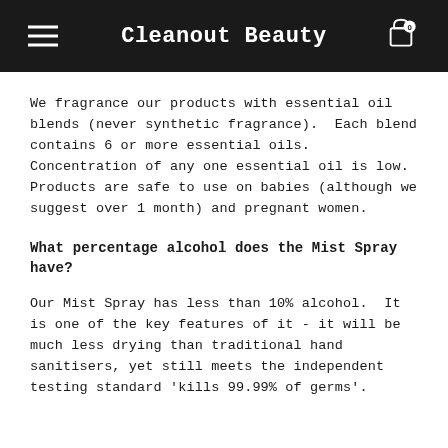Cleanout Beauty
We fragrance our products with essential oil blends (never synthetic fragrance).  Each blend contains 6 or more essential oils. Concentration of any one essential oil is low. Products are safe to use on babies (although we suggest over 1 month) and pregnant women.
What percentage alcohol does the Mist Spray have?
Our Mist Spray has less than 10% alcohol.  It is one of the key features of it - it will be much less drying than traditional hand sanitisers, yet still meets the independent testing standard 'kills 99.99% of germs'.